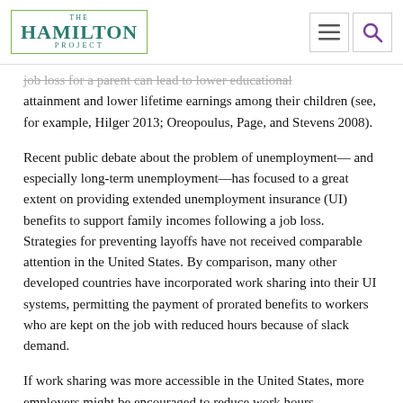THE HAMILTON PROJECT
job loss for a parent can lead to lower educational attainment and lower lifetime earnings among their children (see, for example, Hilger 2013; Oreopoulus, Page, and Stevens 2008).
Recent public debate about the problem of unemployment—and especially long-term unemployment—has focused to a great extent on providing extended unemployment insurance (UI) benefits to support family incomes following a job loss. Strategies for preventing layoffs have not received comparable attention in the United States. By comparison, many other developed countries have incorporated work sharing into their UI systems, permitting the payment of prorated benefits to workers who are kept on the job with reduced hours because of slack demand.
If work sharing was more accessible in the United States, more employers might be encouraged to reduce work hours